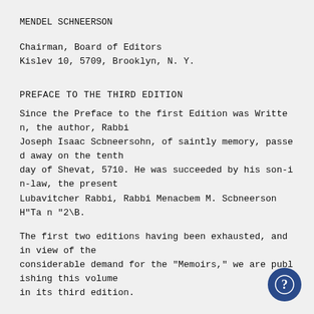MENDEL SCHNEERSON
Chairman, Board of Editors
Kislev 10, 5709, Brooklyn, N. Y.
PREFACE TO THE THIRD EDITION
Since the Preface to the first Edition was Written, the author, Rabbi Joseph Isaac Scbneersohn, of saintly memory, passed away on the tenth day of Shevat, 5710. He was succeeded by his son-in-law, the present Lubavitcher Rabbi, Rabbi Menacbem M. Scbneerson H"Ta n "2\B.
The first two editions having been exhausted, and in view of the considerable demand for the "Memoirs," we are publishing this volume in its third edition.